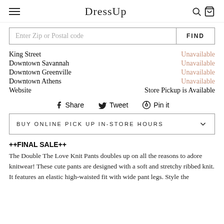DressUp
Enter Zip or Postal code   FIND
King Street — Unavailable
Downtown Savannah — Unavailable
Downtown Greenville — Unavailable
Downtown Athens — Unavailable
Website — Store Pickup is Available
Share   Tweet   Pin it
BUY ONLINE PICK UP IN-STORE HOURS
++FINAL SALE++
The Double The Love Knit Pants doubles up on all the reasons to adore knitwear! These cute pants are designed with a soft and stretchy ribbed knit. It features an elastic high-waisted fit with wide pant legs. Style the